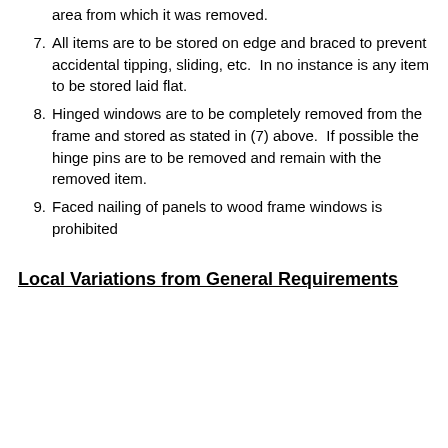area from which it was removed.
7. All items are to be stored on edge and braced to prevent accidental tipping, sliding, etc.  In no instance is any item to be stored laid flat.
8. Hinged windows are to be completely removed from the frame and stored as stated in (7) above.  If possible the hinge pins are to be removed and remain with the removed item.
9. Faced nailing of panels to wood frame windows is prohibited
Local Variations from General Requirements